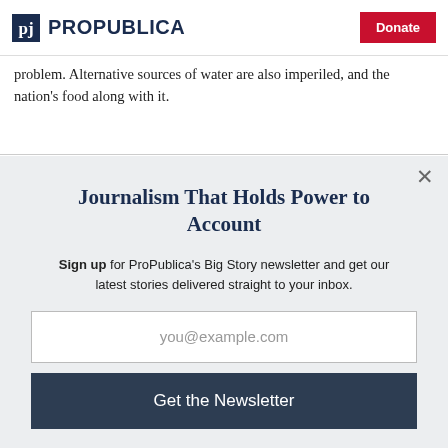ProPublica | Donate
problem. Alternative sources of water are also imperiled, and the nation's food along with it.
Journalism That Holds Power to Account
Sign up for ProPublica's Big Story newsletter and get our latest stories delivered straight to your inbox.
you@example.com
Get the Newsletter
No thanks, I'm all set
This site is protected by reCAPTCHA and the Google Privacy Policy and Terms of Service apply.